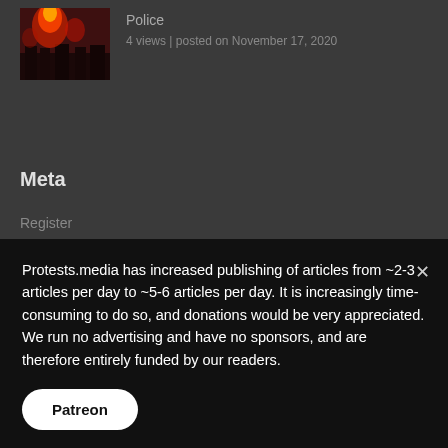[Figure (photo): Thumbnail image showing a crowd scene with red/orange flames or flares at night]
Police
4 views | posted on November 17, 2020
Meta
Register
Log in
Entries feed
Protests.media has increased publishing of articles from ~2-3 articles per day to ~5-6 articles per day. It is increasingly time-consuming to do so, and donations would be very appreciated. We run no advertising and have no sponsors, and are therefore entirely funded by our readers.
Patreon